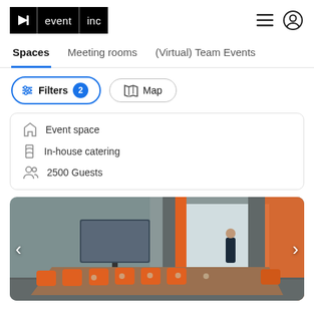[Figure (logo): event inc logo — black background with white music note icon, 'event' text block, 'inc' text block separated by dividers]
Navigation icons: hamburger menu and user profile circle
Spaces | Meeting rooms | (Virtual) Team Events
Filters 2  |  Map (filter/map buttons)
Event space
In-house catering
2500 Guests
[Figure (photo): Conference room photo with orange chairs around a long table, a TV screen mounted on the wall, a person standing near large windows with grey and orange drapes]